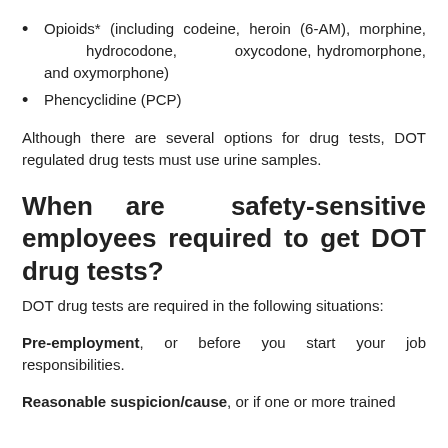Opioids* (including codeine, heroin (6-AM), morphine, hydrocodone, oxycodone, hydromorphone, and oxymorphone)
Phencyclidine (PCP)
Although there are several options for drug tests, DOT regulated drug tests must use urine samples.
When are safety-sensitive employees required to get DOT drug tests?
DOT drug tests are required in the following situations:
Pre-employment, or before you start your job responsibilities.
Reasonable suspicion/cause, or if one or more trained